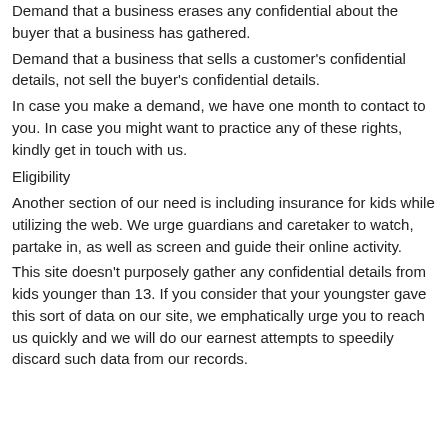Demand that a business erases any confidential about the buyer that a business has gathered.
Demand that a business that sells a customer's confidential details, not sell the buyer's confidential details.
In case you make a demand, we have one month to contact to you. In case you might want to practice any of these rights, kindly get in touch with us.
Eligibility
Another section of our need is including insurance for kids while utilizing the web. We urge guardians and caretaker to watch, partake in, as well as screen and guide their online activity.
This site doesn't purposely gather any confidential details from kids younger than 13. If you consider that your youngster gave this sort of data on our site, we emphatically urge you to reach us quickly and we will do our earnest attempts to speedily discard such data from our records.